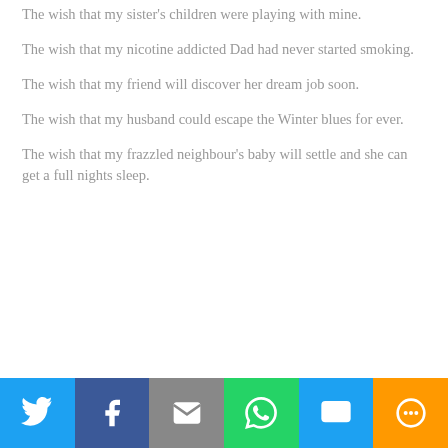The wish that my sister's children were playing with mine.
The wish that my nicotine addicted Dad had never started smoking.
The wish that my friend will discover her dream job soon.
The wish that my husband could escape the Winter blues for ever.
The wish that my frazzled neighbour's baby will settle and she can get a full nights sleep.
[Figure (infographic): Social sharing bar with icons for Twitter, Facebook, Email, WhatsApp, SMS, and More]